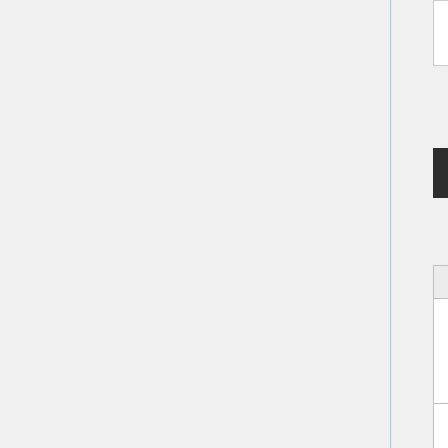5  Milestones
6  Project Framework
Project Management
Risks
|  | Risks Involved |  |  |
| --- | --- | --- | --- |
| S/N | Risk | Impact | Im (o |
|  | Written codes are not | Too much time |  |